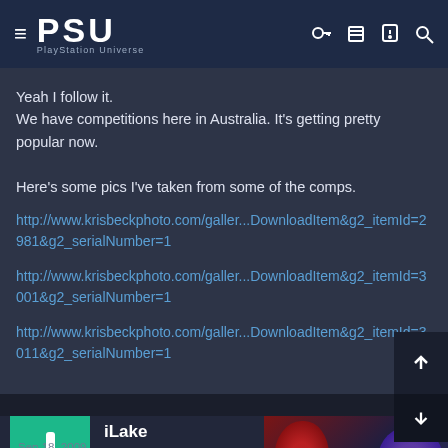PSU PlayStation Universe
Yeah I follow it.
We have competitions here in Australia. It's getting pretty popular now.

Here's some pics I've taken from some of the comps.
http://www.krisbeckphoto.com/galler...DownloadItem&g2_itemId=2981&g2_serialNumber=1
http://www.krisbeckphoto.com/galler...DownloadItem&g2_itemId=3001&g2_serialNumber=1
http://www.krisbeckphoto.com/galler...DownloadItem&g2_itemId=3011&g2_serialNumber=1
iLake
Super Elite
Sep 18, 2009
I hope those cars are rigged with some a...
[Figure (screenshot): Halo Infinite advertisement showing game art with text HALO INFINITE GETTING CAMPAIGN CO-OP AND FORGE MODE ON NOV. 8]